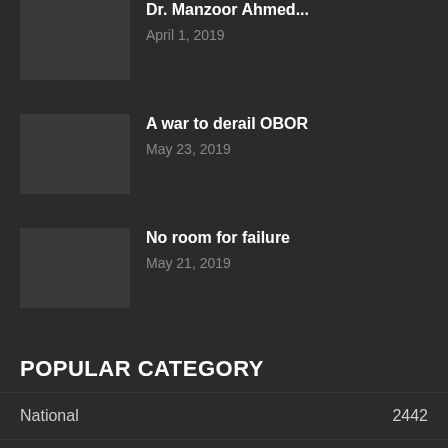Dr. Manzoor Ahmed...
April 1, 2019
A war to derail OBOR
May 23, 2019
No room for failure
May 21, 2019
POPULAR CATEGORY
National  2442
General  2343
Views & Opinions  1490
Money & Commodities  391